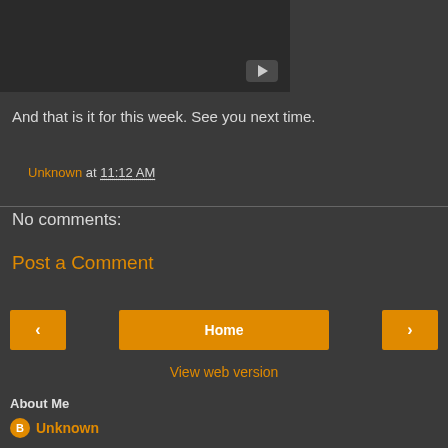[Figure (screenshot): Video thumbnail with dark background and play button in bottom right]
And that is it for this week. See you next time.
Unknown at 11:12 AM
No comments:
Post a Comment
Home
View web version
About Me
Unknown